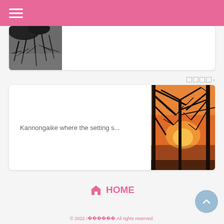☰ (hamburger menu)
[Figure (photo): Photo of tree branches against grey sky, partially visible at top of card]
□□□□ ›
Kannongaike where the setting s…
[Figure (photo): Sunset photo showing orange sky through dark silhouetted bare tree branches]
⌂ HOME
© 2022 □□□□□□□ All rights reserved.